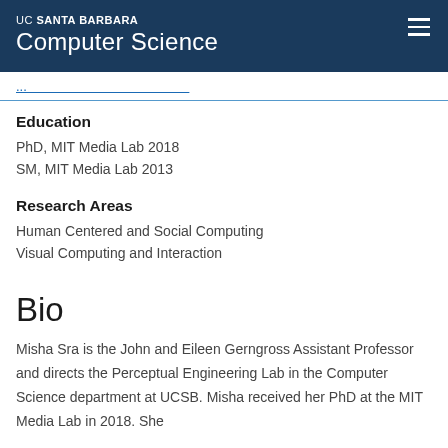UC SANTA BARBARA Computer Science
[navigation link - partially visible]
Education
PhD, MIT Media Lab 2018
SM, MIT Media Lab 2013
Research Areas
Human Centered and Social Computing
Visual Computing and Interaction
Bio
Misha Sra is the John and Eileen Gerngross Assistant Professor and directs the Perceptual Engineering Lab in the Computer Science department at UCSB. Misha received her PhD at the MIT Media Lab in 2018. She...